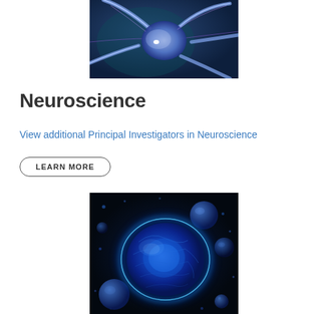[Figure (photo): Close-up illustration of a blue glowing neuron with branching dendrites and axons on a dark background with light flares]
Neuroscience
View additional Principal Investigators in Neuroscience
LEARN MORE
[Figure (photo): Close-up illustration of a large glowing blue cell or nucleus surrounded by smaller dark blue spheres on a dark background]